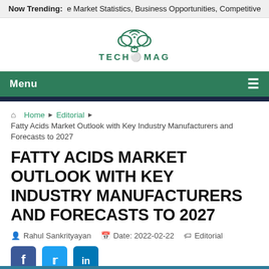Now Trending: e Market Statistics, Business Opportunities, Competitive
[Figure (logo): Tech Mag logo with cloud and wifi icon above text TECH MAG]
Menu ≡
🏠 Home ▶ Editorial ▶ Fatty Acids Market Outlook with Key Industry Manufacturers and Forecasts to 2027
FATTY ACIDS MARKET OUTLOOK WITH KEY INDUSTRY MANUFACTURERS AND FORECASTS TO 2027
Rahul Sankrityayan   Date: 2022-02-22   Editorial
[Figure (illustration): Social media icons: Facebook, Twitter, LinkedIn]